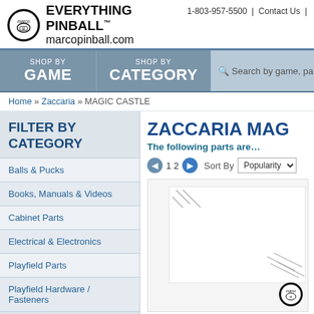Marco EVERYTHING PINBALL™ marcopinball.com | 1-803-957-5500 | Contact Us
SHOP BY GAME | SHOP BY CATEGORY | Search by game, part numb…
Home » Zaccaria » MAGIC CASTLE
FILTER BY CATEGORY
Balls & Pucks
Books, Manuals & Videos
Cabinet Parts
Electrical & Electronics
Playfield Parts
Playfield Hardware / Fasteners
ZACCARIA MAG…
The following parts are…
1 2   Sort By  Popularity
[Figure (photo): Product image placeholder with diagonal lines pattern, Marco badge in bottom right]